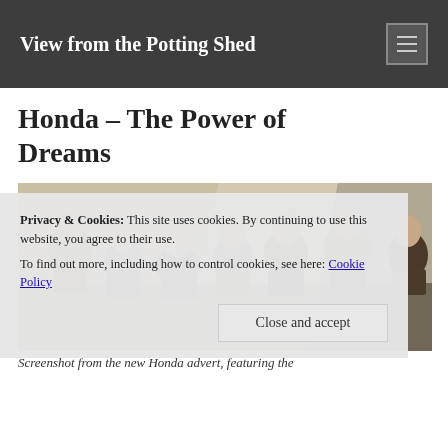View from the Potting Shed
Honda – The Power of Dreams
[Figure (photo): Screenshot from a Honda advert showing a crowd of people watching something, mixed group of men and women]
Privacy & Cookies: This site uses cookies. By continuing to use this website, you agree to their use.
To find out more, including how to control cookies, see here: Cookie Policy
Screenshot from the new Honda advert, featuring the